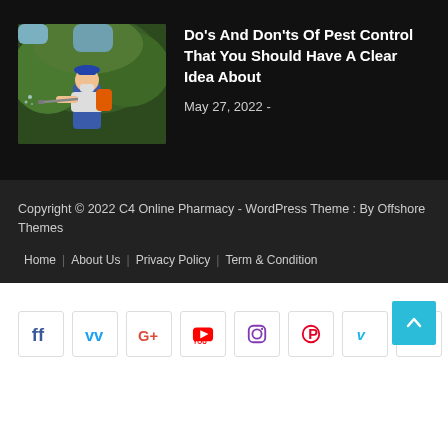[Figure (photo): Pest control worker in blue overalls and face mask spraying outdoors with greenery background]
Do's And Don'ts Of Pest Control That You Should Have A Clear Idea About
May 27, 2022  -
Copyright © 2022 C4 Online Pharmacy - WordPress Theme : By Offshore Themes
Home  |  About Us  |  Privacy Policy  |  Term & Condition
[Figure (other): Social media icon buttons: Facebook, Twitter, Google+, YouTube, Instagram, Pinterest, Vimeo, LinkedIn]